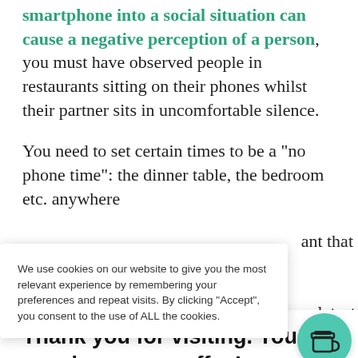smartphone into a social situation can cause a negative perception of a person, you must have observed people in restaurants sitting on their phones whilst their partner sits in uncomfortable silence.
You need to set certain times to be a “no phone time”: the dinner table, the bedroom etc. anywhere [ant that
We use cookies on our website to give you the most relevant experience by remembering your preferences and repeat visits. By clicking “Accept”, you consent to the use of ALL the cookies.
Thank you for visiting. You can now buy me a coffee!
[Figure (illustration): Circular teal/green button with a coffee cup icon (take-away cup with lid)]